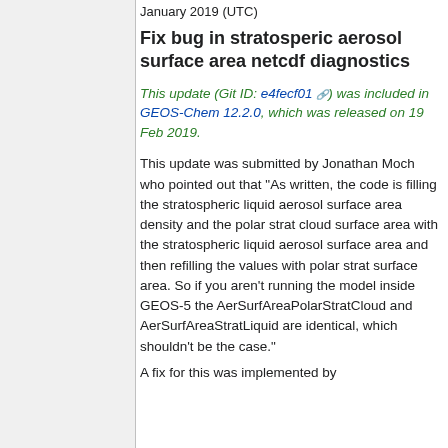January 2019 (UTC)
Fix bug in stratosperic aerosol surface area netcdf diagnostics
This update (Git ID: e4fecf01) was included in GEOS-Chem 12.2.0, which was released on 19 Feb 2019.
This update was submitted by Jonathan Moch who pointed out that "As written, the code is filling the stratospheric liquid aerosol surface area density and the polar strat cloud surface area with the stratospheric liquid aerosol surface area and then refilling the values with polar strat surface area. So if you aren't running the model inside GEOS-5 the AerSurfAreaPolarStratCloud and AerSurfAreaStratLiquid are identical, which shouldn't be the case."
A fix for this was implemented by